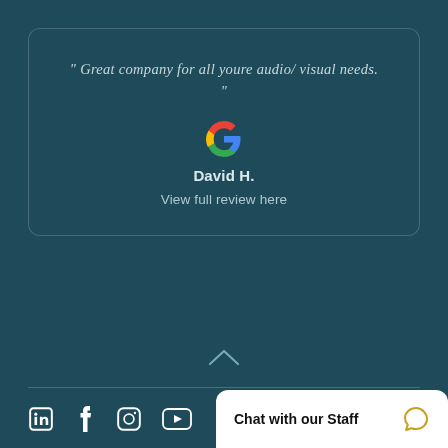" Great company for all youre audio/ visual needs. "
[Figure (logo): Google G logo in multicolor (blue, red, yellow, green)]
David H.
View full review here
[Figure (other): Up chevron arrow icon]
LinkedIn, Facebook, Instagram, YouTube social icons | Chat with our Staff